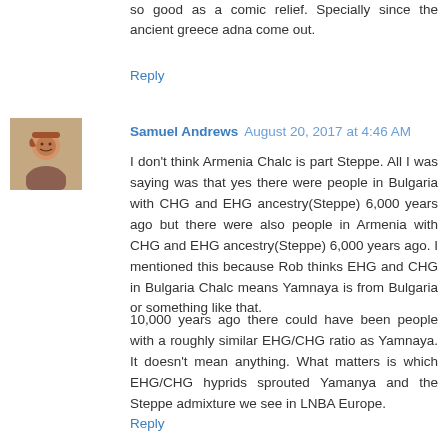so good as a comic relief. Specially since the ancient greece adna come out.
Reply
[Figure (photo): Avatar photo of Samuel Andrews, a man with a beard]
Samuel Andrews  August 20, 2017 at 4:46 AM
I don't think Armenia Chalc is part Steppe. All I was saying was that yes there were people in Bulgaria with CHG and EHG ancestry(Steppe) 6,000 years ago but there were also people in Armenia with CHG and EHG ancestry(Steppe) 6,000 years ago. I mentioned this because Rob thinks EHG and CHG in Bulgaria Chalc means Yamnaya is from Bulgaria or something like that.
10,000 years ago there could have been people with a roughly similar EHG/CHG ratio as Yamnaya. It doesn't mean anything. What matters is which EHG/CHG hyprids sprouted Yamanya and the Steppe admixture we see in LNBA Europe.
Reply